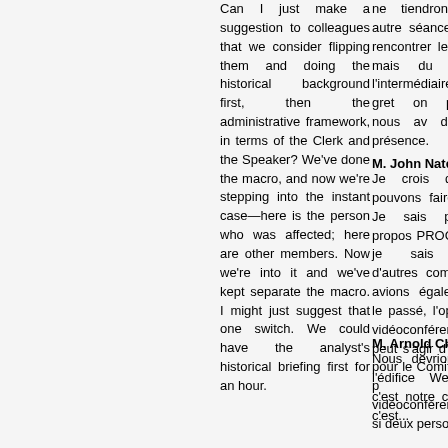Can I just make a suggestion to colleagues that we consider flipping them and doing the historical background first, then the administrative framework, in terms of the Clerk and the Speaker? We've done the macro, and now we're stepping into the instant case—here is the person who was affected; here are other members. Now we're into it and we've kept separate the macro. I might just suggest that one switch. We could have the analyst's historical briefing first for an hour.
ne tiendrons pas autre séance avant rencontrer les témo mais du moins, l'intermédiaire du gret on pourrait nous av de leur présence.
M. John Nater:
Je crois que n pouvons faire cela. Je sais pas à propos PROC, mais je sais dans d'autres comi nous avions égalem par le passé, l'option la vidéoconférence. peut s'agir d'une op pour le Comité si on p utiliser vidéoconférence et si deux personnes...
M. Arnold Chan:
Nous devrions alle l'édifice Wellington c'est notre choix, n c'est...